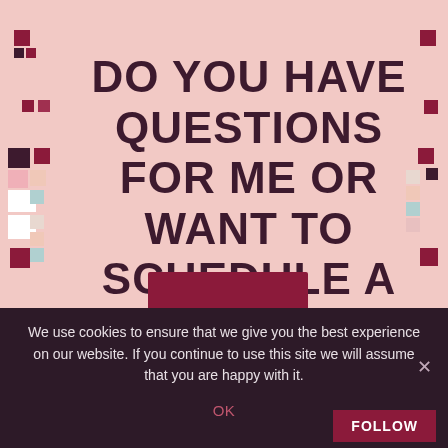[Figure (infographic): Pink background promotional banner with decorative colored squares on left and right sides, large bold dark text reading 'DO YOU HAVE QUESTIONS FOR ME OR WANT TO SCHEDULE A DISCOVERY CALL?', and a partial dark red button at the bottom. Below is a dark cookie consent bar with text and OK/FOLLOW buttons.]
DO YOU HAVE QUESTIONS FOR ME OR WANT TO SCHEDULE A DISCOVERY CALL?
We use cookies to ensure that we give you the best experience on our website. If you continue to use this site we will assume that you are happy with it.
OK